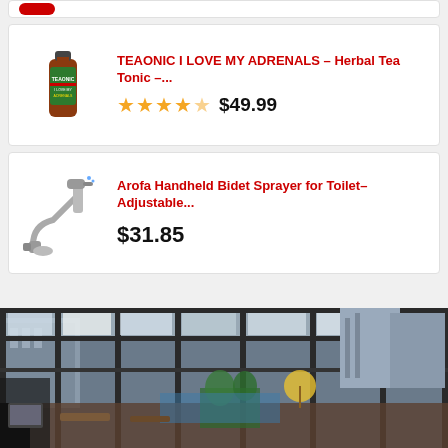[Figure (screenshot): Top partial product card strip at very top of page]
[Figure (screenshot): Product listing card: TEAONIC I LOVE MY ADRENALS - Herbal Tea Tonic -... with 4.5 star rating and price $49.99]
[Figure (screenshot): Product listing card: Arofa Handheld Bidet Sprayer for Toilet-Adjustable... priced at $31.85]
[Figure (photo): Interior photo of a restaurant or cafe with glass ceiling/walls, city buildings visible outside, green plants, wooden furniture, urban rooftop setting]